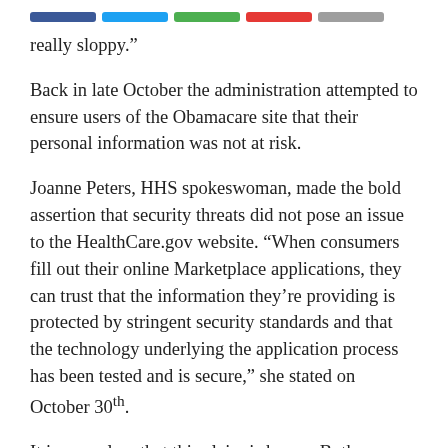[Figure (other): Social media share buttons: blue Facebook, light blue Twitter, green, red, and gray buttons]
really sloppy."
Back in late October the administration attempted to ensure users of the Obamacare site that their personal information was not at risk.
Joanne Peters, HHS spokeswoman, made the bold assertion that security threats did not pose an issue to the HealthCare.gov website. “When consumers fill out their online Marketplace applications, they can trust that the information they’re providing is protected by stringent security standards and that the technology underlying the application process has been tested and is secure,” she stated on October 30th.
It is now clear that this claim is bogus. Both Kennedy and Simo are technology experts, and they